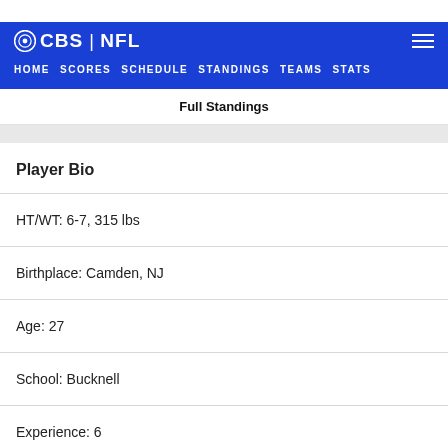CBS | NFL
HOME  SCORES  SCHEDULE  STANDINGS  TEAMS  STATS
Full Standings
Player Bio
HT/WT: 6-7, 315 lbs
Birthplace: Camden, NJ
Age: 27
School: Bucknell
Experience: 6